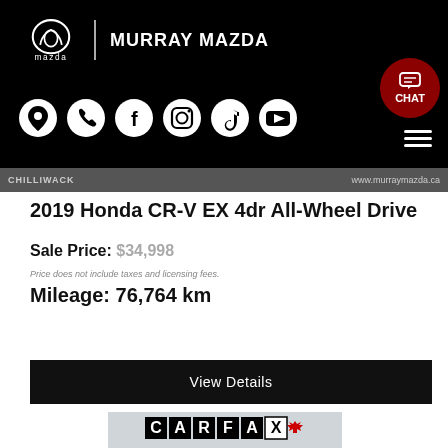MURRAY MAZDA
[Figure (logo): Murray Mazda dealership header with Mazda logo, social media icons (location, phone, Facebook, Instagram, TikTok, YouTube), chat button, and hamburger menu]
CHILLIWACK  www.murraymazda.ca
2019 Honda CR-V EX 4dr All-Wheel Drive
Sale Price: $34,998
Price does not include taxes and licensing fees.
Mileage: 76,764 km
View Details
[Figure (logo): CARFAX Canada logo with maple leaf and VIEW REPORT text below]